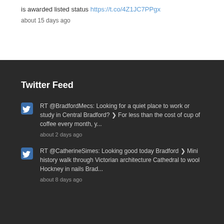is awarded listed status https://t.co/4Z1JC7PPgx
about 15 days ago
Twitter Feed
RT @BradfordMecs: Looking for a quiet place to work or study in Central Bradford? » For less than the cost of cup of coffee every month, y...
about 2 days ago
RT @CatherineSimes: Looking good today Bradford » Mini history walk through Victorian architecture Cathedral to wool Hockney in nails Brad...
about 8 days ago